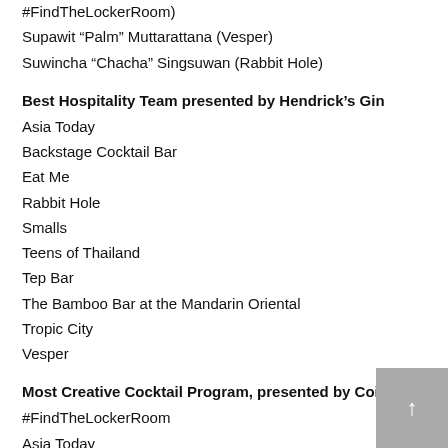#FindTheLockerRoom)
Supawit “Palm” Muttarattana (Vesper)
Suwincha “Chacha” Singsuwan (Rabbit Hole)
Best Hospitality Team presented by Hendrick’s Gin
Asia Today
Backstage Cocktail Bar
Eat Me
Rabbit Hole
Smalls
Teens of Thailand
Tep Bar
The Bamboo Bar at the Mandarin Oriental
Tropic City
Vesper
Most Creative Cocktail Program, presented by Cointreau
#FindTheLockerRoom
Asia Today
Backstage Cocktail Bar